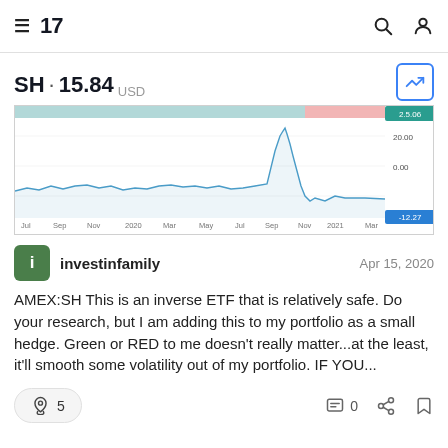TradingView — SH · 15.84 USD
SH · 15.84 USD
[Figure (continuous-plot): Price chart for SH (inverse ETF) from Jul 2019 to Mar 2021, showing a spike around Mar 2020 then a decline. Y-axis values include 20.00, 0.00, 12.27. X-axis labels: Jul, Sep, Nov, 2020, Mar, May, Jul, Sep, Nov, 2021, Mar. The chart has a candlestick/area style with blue line on white/light background, and teal/red indicator at top.]
investinfamily
Apr 15, 2020
AMEX:SH This is an inverse ETF that is relatively safe. Do your research, but I am adding this to my portfolio as a small hedge. Green or RED to me doesn't really matter...at the least, it'll smooth some volatility out of my portfolio. IF YOU...
5
0